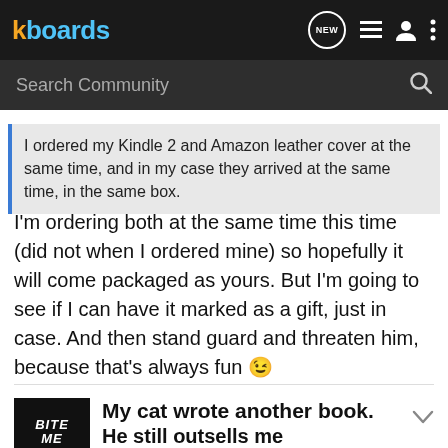kboards
Search Community
I ordered my Kindle 2 and Amazon leather cover at the same time, and in my case they arrived at the same time, in the same box.
I'm ordering both at the same time this time (did not when I ordered mine) so hopefully it will come packaged as yours. But I'm going to see if I can have it marked as a gift, just in case. And then stand guard and threaten him, because that's always fun 😉
My cat wrote another book. He still outsells me